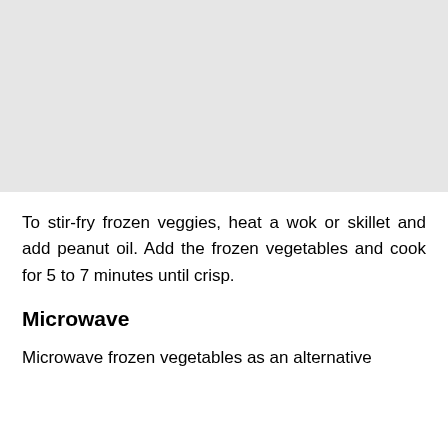[Figure (photo): Blank light gray rectangular image placeholder at the top of the page]
To stir-fry frozen veggies, heat a wok or skillet and add peanut oil. Add the frozen vegetables and cook for 5 to 7 minutes until crisp.
Microwave
Microwave frozen vegetables as an alternative